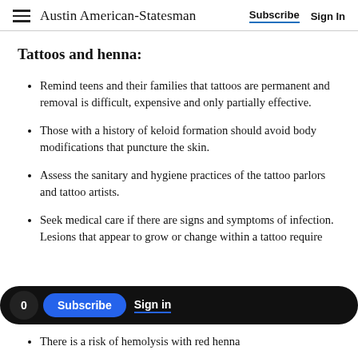Austin American-Statesman  Subscribe  Sign In
Tattoos and henna:
Remind teens and their families that tattoos are permanent and removal is difficult, expensive and only partially effective.
Those with a history of keloid formation should avoid body modifications that puncture the skin.
Assess the sanitary and hygiene practices of the tattoo parlors and tattoo artists.
Seek medical care if there are signs and symptoms of infection. Lesions that appear to grow or change within a tattoo require
There is a risk of hemolysis with red henna